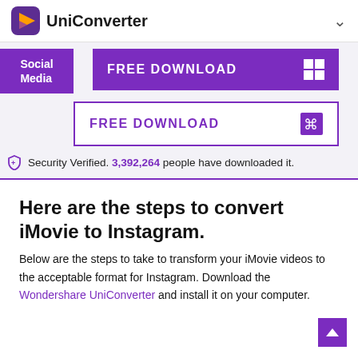UniConverter
[Figure (screenshot): FREE DOWNLOAD button for Windows with Windows logo icon]
Social Media
[Figure (screenshot): FREE DOWNLOAD button for Mac with Finder icon]
Security Verified. 3,392,264 people have downloaded it.
Here are the steps to convert iMovie to Instagram.
Below are the steps to take to transform your iMovie videos to the acceptable format for Instagram. Download the Wondershare UniConverter and install it on your computer.